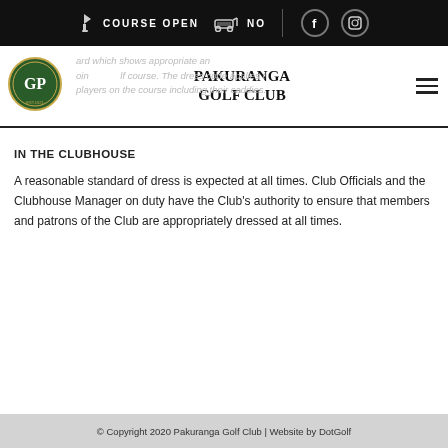COURSE OPEN  NO
[Figure (logo): Pakuranga Golf Club circular green logo with GP initials]
PAKURANGA GOLF CLUB
...ard which shows appropriate an...oint...lf course. The dress code applies t...players on the course including their caddies.
IN THE CLUBHOUSE
A reasonable standard of dress is expected at all times. Club Officials and the Clubhouse Manager on duty have the Club's authority to ensure that members and patrons of the Club are appropriately dressed at all times.
© Copyright 2020 Pakuranga Golf Club | Website by DotGolf